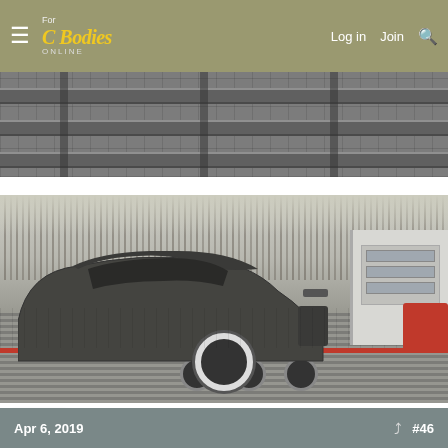For C Bodies Online — Log in | Join | Search
[Figure (photo): Top partial view of a flatbed car hauler trailer with metal ramp/grid surface, showing steel cross-beams and perforated metal deck.]
[Figure (photo): A stripped classic muscle car body (greenish-grey primer) loaded on a flatbed trailer, viewed from the rear-left angle. Bare metal, no interior, white-wall spare tire visible. Bare winter trees in background. A white RV/trailer and red car visible on right side.]
👍 6
Apr 6, 2019   #46